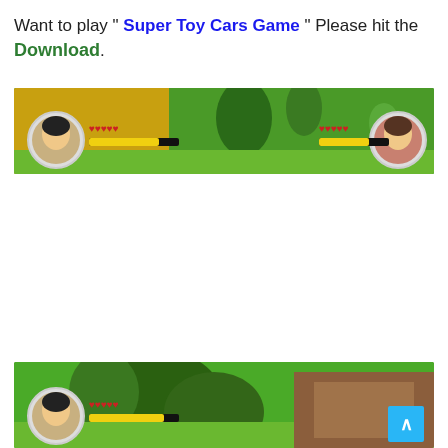Want to play " Super Toy Cars Game " Please hit the Download.
[Figure (screenshot): Screenshot of a video game showing a colorful outdoor scene with green fields, trees, a yellow car, HUD elements including heart icons and health bars on both sides, and character portraits in circles on left and right.]
[Figure (screenshot): Partial screenshot of the same video game showing a green outdoor scene with trees and a character portrait in a circle on the lower left, with a blue scroll-to-top button in the lower right corner.]